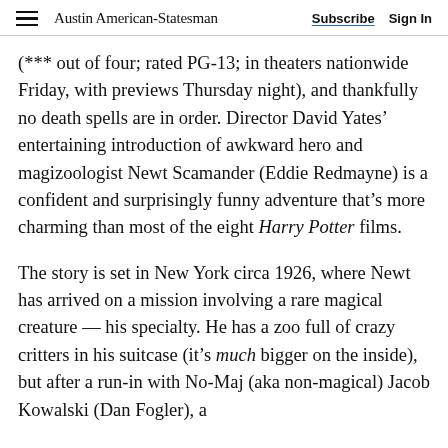Austin American-Statesman | Subscribe  Sign In
(*** out of four; rated PG-13; in theaters nationwide Friday, with previews Thursday night), and thankfully no death spells are in order. Director David Yates’ entertaining introduction of awkward hero and magizoologist Newt Scamander (Eddie Redmayne) is a confident and surprisingly funny adventure that’s more charming than most of the eight Harry Potter films.
The story is set in New York circa 1926, where Newt has arrived on a mission involving a rare magical creature — his specialty. He has a zoo full of crazy critters in his suitcase (it’s much bigger on the inside), but after a run-in with No-Maj (aka non-magical) Jacob Kowalski (Dan Fogler), a